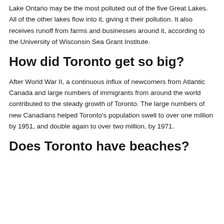Lake Ontario may be the most polluted out of the five Great Lakes. All of the other lakes flow into it, giving it their pollution. It also receives runoff from farms and businesses around it, according to the University of Wisconsin Sea Grant Institute.
How did Toronto get so big?
After World War II, a continuous influx of newcomers from Atlantic Canada and large numbers of immigrants from around the world contributed to the steady growth of Toronto. The large numbers of new Canadians helped Toronto's population swell to over one million by 1951, and double again to over two million, by 1971.
Does Toronto have beaches?